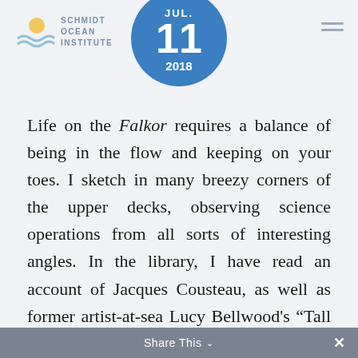Schmidt Ocean Institute — JUL. 11 2018
Life on the Falkor requires a balance of being in the flow and keeping on your toes. I sketch in many breezy corners of the upper decks, observing science operations from all sorts of interesting angles. In the library, I have read an account of Jacques Cousteau, as well as former artist-at-sea Lucy Bellwood's “Tall Ships.” I have also perused books about Vikings, phytoplankton, and oceanic life.
Share This ∨  ×